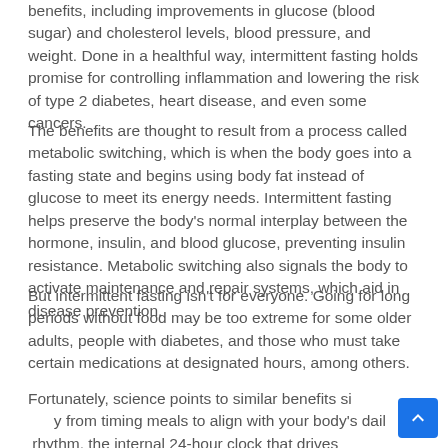benefits, including improvements in glucose (blood sugar) and cholesterol levels, blood pressure, and weight. Done in a healthful way, intermittent fasting holds promise for controlling inflammation and lowering the risk of type 2 diabetes, heart disease, and even some cancers.
The benefits are thought to result from a process called metabolic switching, which is when the body goes into a fasting state and begins using body fat instead of glucose to meet its energy needs. Intermittent fasting helps preserve the body's normal interplay between the hormone, insulin, and blood glucose, preventing insulin resistance. Metabolic switching also signals the body to activate maintenance and repair systems, which aid in disease prevention.
But intermittent fasting isn't for everyone. Going for long periods without food may be too extreme for some older adults, people with diabetes, and those who must take certain medications at designated hours, among others.
Fortunately, science points to similar benefits simply from timing meals to align with your body's daily rhythm, the internal 24-hour clock that drives metabolism, sleep-wake cycles, the immune system...